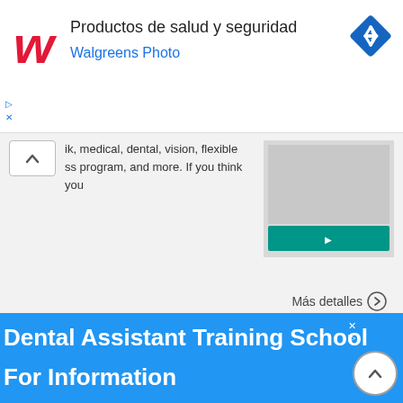[Figure (screenshot): Walgreens ad banner with logo, text 'Productos de salud y seguridad' and 'Walgreens Photo', and a blue diamond navigation icon]
ik, medical, dental, vision, flexible ss program, and more. If you think you
Más detalles →
Southwest Key Programs
ust have a clear criminal history. • Please bring license and resume to the job fair.
Más detalles →
[Figure (screenshot): Blue ad banner for Dental Assistant Training School with text 'Dental Assistant Training School' and 'For Information']